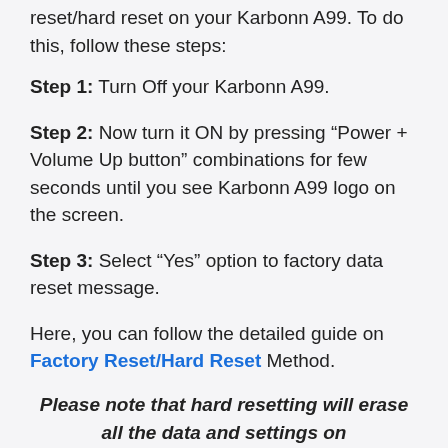reset/hard reset on your Karbonn A99. To do this, follow these steps:
Step 1: Turn Off your Karbonn A99.
Step 2: Now turn it ON by pressing “Power + Volume Up button” combinations for few seconds until you see Karbonn A99 logo on the screen.
Step 3: Select “Yes” option to factory data reset message.
Here, you can follow the detailed guide on Factory Reset/Hard Reset Method.
Please note that hard resetting will erase all the data and settings on